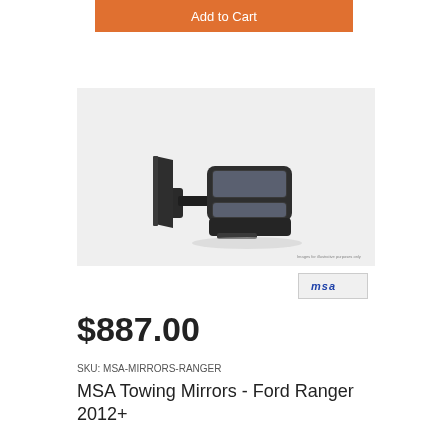Add to Cart
[Figure (photo): MSA towing mirror product photo on light grey background showing a black extendable towing mirror assembly with dual mirror heads and arm]
[Figure (logo): MSA brand logo in italicized text on a light grey rounded rectangle]
$887.00
SKU: MSA-MIRRORS-RANGER
MSA Towing Mirrors - Ford Ranger 2012+